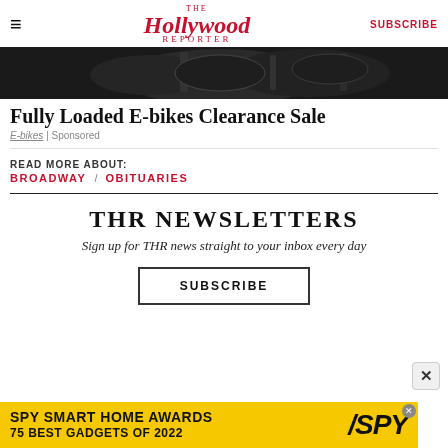The Hollywood Reporter | SUBSCRIBE
[Figure (photo): Partial view of black e-bikes from above, dark background]
Fully Loaded E-bikes Clearance Sale
E-bikes | Sponsored
READ MORE ABOUT:
BROADWAY / OBITUARIES
THR NEWSLETTERS
Sign up for THR news straight to your inbox every day
SUBSCRIBE
[Figure (infographic): SPY Smart Home Awards - 75 Best Gadgets of 2022 advertisement banner on yellow background]